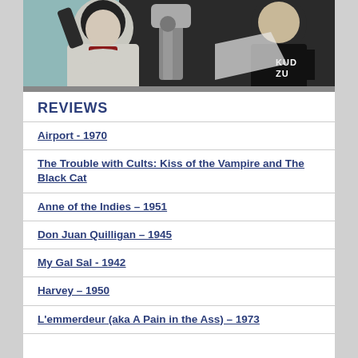[Figure (illustration): Illustrated/comic-style artwork showing stylized figures including a woman and other characters, with a logo 'KUD ZU' visible in the lower right corner]
REVIEWS
Airport - 1970
The Trouble with Cults: Kiss of the Vampire and The Black Cat
Anne of the Indies – 1951
Don Juan Quilligan – 1945
My Gal Sal - 1942
Harvey – 1950
L'emmerdeur (aka A Pain in the Ass) – 1973